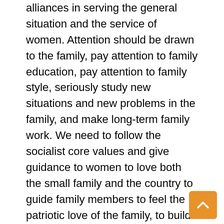alliances in serving the general situation and the service of women. Attention should be drawn to the family, pay attention to family education, pay attention to family style, seriously study new situations and new problems in the family, and make long-term family work. We need to follow the socialist core values and give guidance to women to love both the small family and the country to guide family members to feel the patriotic love of the family, to build family relationships, to love each other, and to the family virtues of goodness and goodness promotion. The family play of co-construction and sharing will play an important role in promoting ownership and family harmony, love for love, healthy growth of the next generation, and promoting older people's responsibility. Women must help family members and promote the traditional virtues of the Chinese nation, such as respect for the elderly and respect for young people, equality between men and women, husband and wife, diligence and family, unity of neighborhood, the resistance of evil spirits, the promotion of the breeze and the creation of a good social atmosphere with a good family style. There is a need to help women deal with the relationship between family and work and become a young woman who is responsible for society and contributes to the family. There is a need